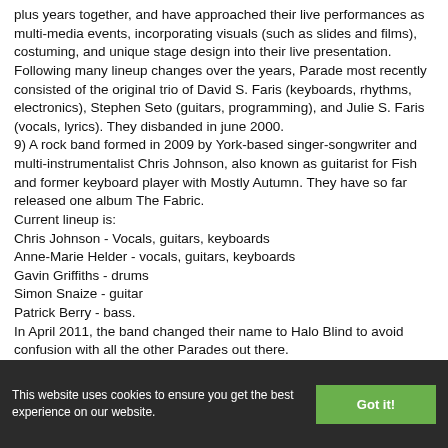plus years together, and have approached their live performances as multi-media events, incorporating visuals (such as slides and films), costuming, and unique stage design into their live presentation. Following many lineup changes over the years, Parade most recently consisted of the original trio of David S. Faris (keyboards, rhythms, electronics), Stephen Seto (guitars, programming), and Julie S. Faris (vocals, lyrics). They disbanded in june 2000.
9) A rock band formed in 2009 by York-based singer-songwriter and multi-instrumentalist Chris Johnson, also known as guitarist for Fish and former keyboard player with Mostly Autumn. They have so far released one album The Fabric.
Current lineup is:
Chris Johnson - Vocals, guitars, keyboards
Anne-Marie Helder - vocals, guitars, keyboards
Gavin Griffiths - drums
Simon Snaize - guitar
Patrick Berry - bass.
In April 2011, the band changed their name to Halo Blind to avoid confusion with all the other Parades out there.
Official website: http://www.paradeband.com/
This website uses cookies to ensure you get the best experience on our website.